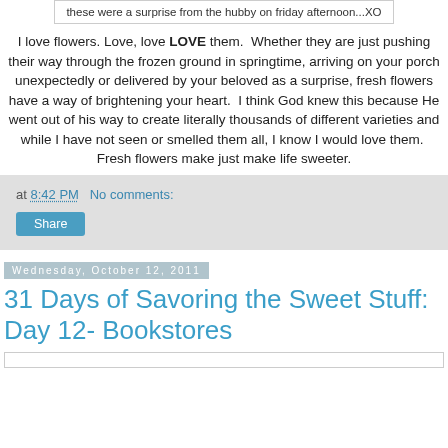these were a surprise from the hubby on friday afternoon...XO
I love flowers. Love, love LOVE them. Whether they are just pushing their way through the frozen ground in springtime, arriving on your porch unexpectedly or delivered by your beloved as a surprise, fresh flowers have a way of brightening your heart. I think God knew this because He went out of his way to create literally thousands of different varieties and while I have not seen or smelled them all, I know I would love them. Fresh flowers make just make life sweeter.
at 8:42 PM   No comments:
Share
Wednesday, October 12, 2011
31 Days of Savoring the Sweet Stuff: Day 12- Bookstores